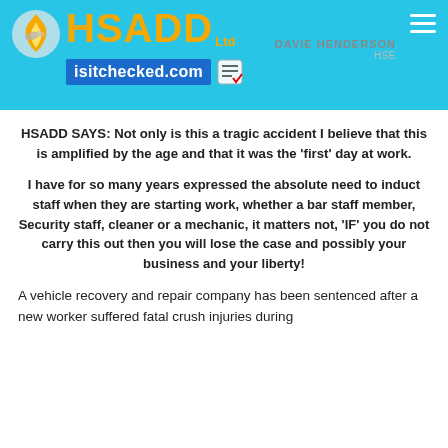HSADD Ltd | isitchecked.com | DAVIE HENDERSON
HSADD SAYS: Not only is this a tragic accident I believe that this is amplified by the age and that it was the 'first' day at work.
I have for so many years expressed the absolute need to induct staff when they are starting work, whether a bar staff member, Security staff, cleaner or a mechanic, it matters not, 'IF' you do not carry this out then you will lose the case and possibly your business and your liberty!
A vehicle recovery and repair company has been sentenced after a new worker suffered fatal crush injuries during